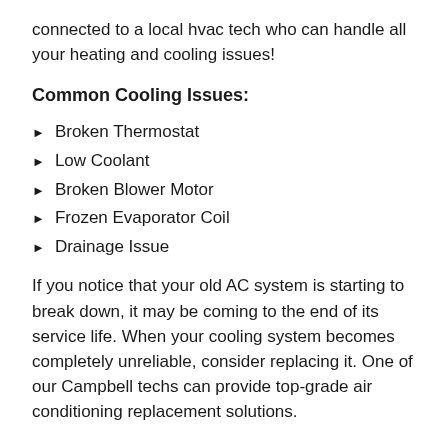connected to a local hvac tech who can handle all your heating and cooling issues!
Common Cooling Issues:
Broken Thermostat
Low Coolant
Broken Blower Motor
Frozen Evaporator Coil
Drainage Issue
If you notice that your old AC system is starting to break down, it may be coming to the end of its service life. When your cooling system becomes completely unreliable, consider replacing it. One of our Campbell techs can provide top-grade air conditioning replacement solutions.